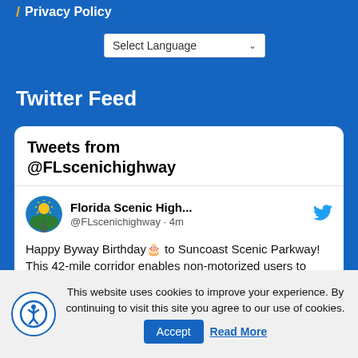/ Privacy Policy
Select Language
Twitter Feed
[Figure (screenshot): Embedded Twitter feed widget showing 'Tweets from @FLscenichighway']
Florida Scenic High... @FLscenichighway · 4m Happy Byway Birthday 🎂 to Suncoast Scenic Parkway! This 42-mile corridor enables non-motorized users to travel
This website uses cookies to improve your experience. By continuing to visit this site you agree to our use of cookies.